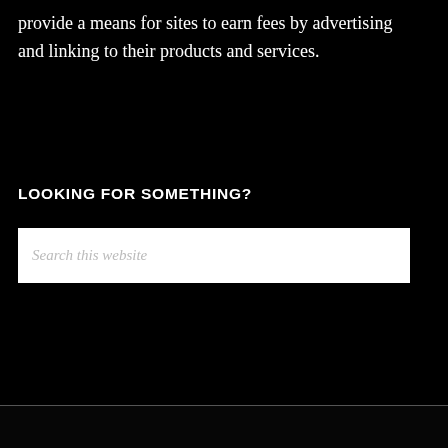provide a means for sites to earn fees by advertising and linking to their products and services.
LOOKING FOR SOMETHING?
[Figure (other): Search box with placeholder text 'Search this website']
© Copyright 2018 The Herbal Resource · All Rights Reserved!
[Figure (other): Burger King advertisement banner: '$6 Your Way Deal now at BK' with Burger King logo and navigation icon]